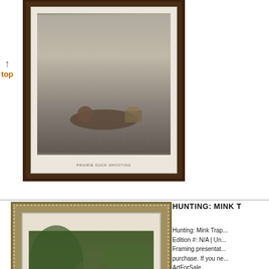[Figure (photo): Framed hunting artwork in dark brown wooden frame, showing a hunting scene, partially cropped at top. Caption reads 'PRAIRIE DUCK SHOOTING' in small text at bottom of print.]
↑
top
[Figure (photo): Framed hunting artwork 'Mink Trapping' in ornate silver/gold beaded frame, showing two men in a wooded setting with traps. Caption below image reads 'MINK TRAPPING 1844'.]
HUNTING: MINK T
Hunting: Mink Trap... Edition #: N/A | Un... Framing presentat... purchase. If you ne... ArtForSale
[Figure (photo): Framed hunting artwork partially visible at bottom, in brown wooden frame. Title text 'HUNTING: THE CA' partially visible.]
HUNTING: THE CA